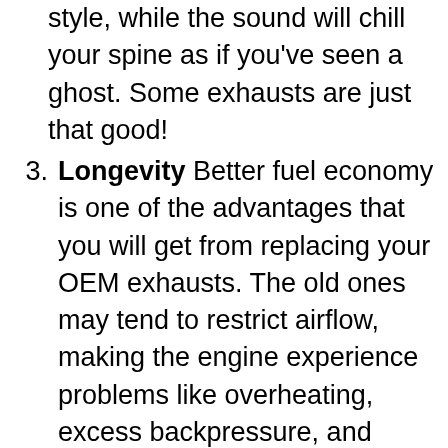style, while the sound will chill your spine as if you've seen a ghost. Some exhausts are just that good!
Longevity Better fuel economy is one of the advantages that you will get from replacing your OEM exhausts. The old ones may tend to restrict airflow, making the engine experience problems like overheating, excess backpressure, and more.By installing an aftermarket exhaust for your Acura RSX, you're guaranteed to have a car with better fuel economy. The numbers may not be off the charts, but the engine will need all the help that it can get.Aftermarket products like the exhaust system can bring tremendous benefits for your car, especially if you